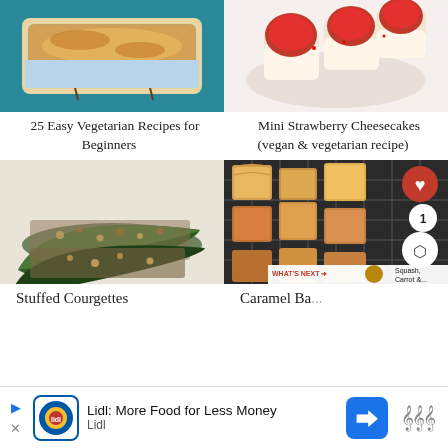[Figure (photo): Baked vegetarian casserole dish with golden cheese topping in a white baking dish on teal background]
25 Easy Vegetarian Recipes for Beginners
[Figure (photo): Mini strawberry cheesecakes on a plate with fresh strawberries on top]
Mini Strawberry Cheesecakes (vegan & vegetarian recipe)
[Figure (photo): Stuffed courgettes with herbed nut topping on white surface]
Stuffed Courgettes
[Figure (photo): Caramel Baklava pastries in flaky phyllo on cooling rack with heart and share overlay buttons and what's next panel]
Caramel Ba...
WHAT'S NEXT → Squash, Carrot &...
Lidl: More Food for Less Money  Lidl